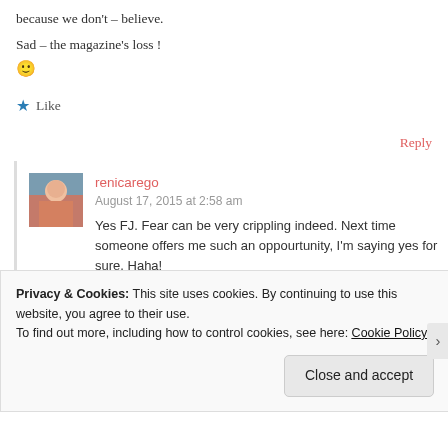because we don't – believe.
Sad – the magazine's loss !
🙂
★ Like
Reply
renicarego
August 17, 2015 at 2:58 am
Yes FJ. Fear can be very crippling indeed. Next time someone offers me such an oppourtunity, I'm saying yes for sure. Haha!
Privacy & Cookies: This site uses cookies. By continuing to use this website, you agree to their use.
To find out more, including how to control cookies, see here: Cookie Policy
Close and accept